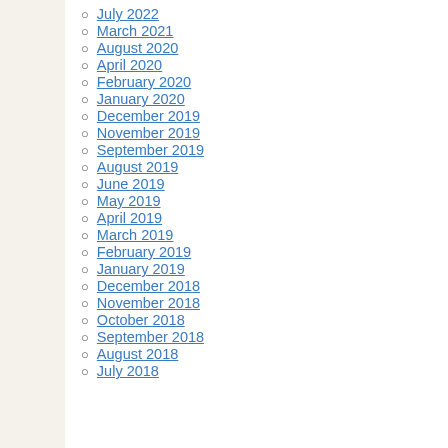July 2022
March 2021
August 2020
April 2020
February 2020
January 2020
December 2019
November 2019
September 2019
August 2019
June 2019
May 2019
April 2019
March 2019
February 2019
January 2019
December 2018
November 2018
October 2018
September 2018
August 2018
July 2018
Thursday May 1, 2014, is National Government, Church, Military, Fam 2014 is One Voice, United in Praye “So that with one mind and one v Lord Jesus Christ”. . God is in co of prayer, designated by Congress, recognized by all 50 Governors anc by praising and praying to the Lord
The apostle Paul urged that “reque everyone…that we may live peacet Timothy 2:1-3). It is time for us to P turburbent time of open racism, run and cites we need to go before the – for ourselves, our families, our ne
How can we P. R. A. Y. Praise the L breakdown walls ,open closed door Journal, Issue 108, 1998. R. is to repent. This nation and eac humble ourselves before the Lord.R personally and on behalf of our nat Repent, then, and turn to God, so t may come from the Lord. Acts 3:19 Ask – Ask God to reveal truth, turn